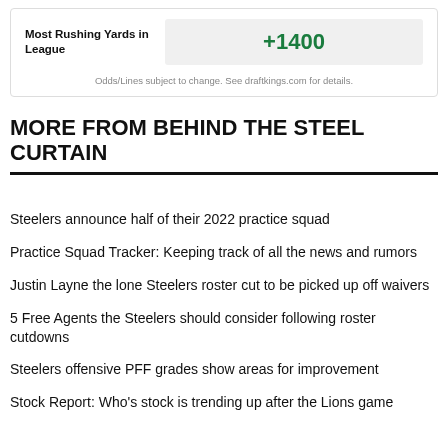| Most Rushing Yards in League |  |
| --- | --- |
| Most Rushing Yards in League | +1400 |
Odds/Lines subject to change. See draftkings.com for details.
MORE FROM BEHIND THE STEEL CURTAIN
Steelers announce half of their 2022 practice squad
Practice Squad Tracker: Keeping track of all the news and rumors
Justin Layne the lone Steelers roster cut to be picked up off waivers
5 Free Agents the Steelers should consider following roster cutdowns
Steelers offensive PFF grades show areas for improvement
Stock Report: Who's stock is trending up after the Lions game